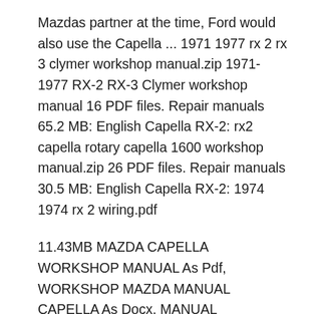Mazdas partner at the time, Ford would also use the Capella ... 1971 1977 rx 2 rx 3 clymer workshop manual.zip 1971-1977 RX-2 RX-3 Clymer workshop manual 16 PDF files. Repair manuals 65.2 MB: English Capella RX-2: rx2 capella rotary capella 1600 workshop manual.zip 26 PDF files. Repair manuals 30.5 MB: English Capella RX-2: 1974 1974 rx 2 wiring.pdf
11.43MB MAZDA CAPELLA WORKSHOP MANUAL As Pdf, WORKSHOP MAZDA MANUAL CAPELLA As Docx, MANUAL WORKSHOP CAPELLA MAZDA As Pptx MAZDA CAPELLA WORKSHOP MANUAL How easy reading concept can improve to be an effective person? MAZDA CAPELLA WORKSHOP MANUAL review is a very simple task. Yet, how many people can